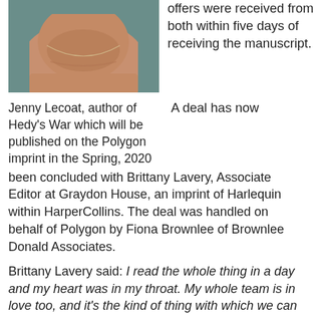[Figure (photo): Close-up photo of a person's neck and lower chin wearing a thin chain necklace, against a teal/blue-green background.]
offers were received from both within five days of receiving the manuscript.
Jenny Lecoat, author of Hedy's War which will be published on the Polygon imprint in the Spring, 2020
A deal has now been concluded with Brittany Lavery, Associate Editor at Graydon House, an imprint of Harlequin within HarperCollins. The deal was handled on behalf of Polygon by Fiona Brownlee of Brownlee Donald Associates.
Brittany Lavery said: I read the whole thing in a day and my heart was in my throat. My whole team is in love too, and it's the kind of thing with which we can do so, so